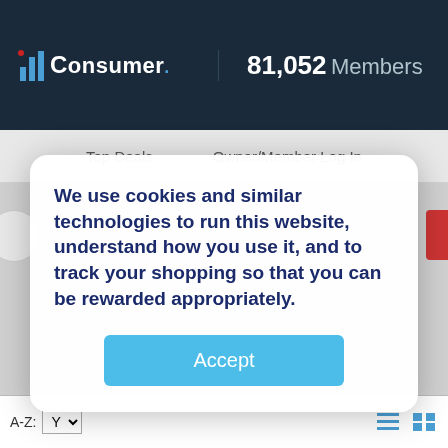iConsumer. 81,052 Members
Top Deals   Owner/Member Log In
We use cookies and similar technologies to run this website, understand how you use it, and to track your shopping so that you can be rewarded appropriately.
Accept
All Stores
A-Z: Y